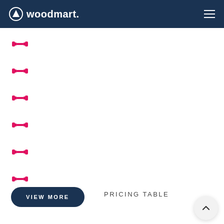woodmart.
[Figure (illustration): Six pink/red dumbbell icons arranged vertically in a column]
VIEW MORE
PRICING TABLE